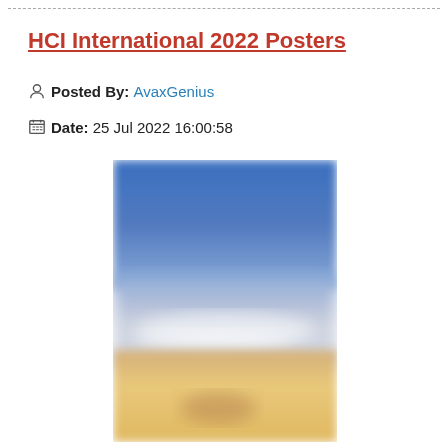HCI International 2022 Posters
Posted By: AvaxGenius
Date: 25 Jul 2022 16:00:58
[Figure (photo): Blurred beach scene with blue sky, ocean waves, and sandy shore in soft focus]